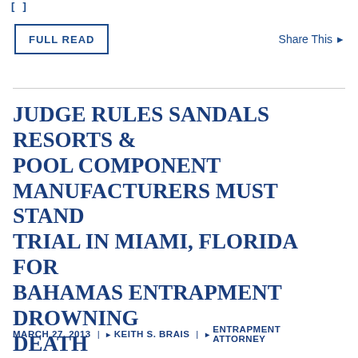[  ]
FULL READ
Share This ▷
JUDGE RULES SANDALS RESORTS & POOL COMPONENT MANUFACTURERS MUST STAND TRIAL IN MIAMI, FLORIDA FOR BAHAMAS ENTRAPMENT DROWNING DEATH
——
MARCH 27, 2013 | ▷ KEITH S. BRAIS | ▷ ENTRAPMENT ATTORNEY